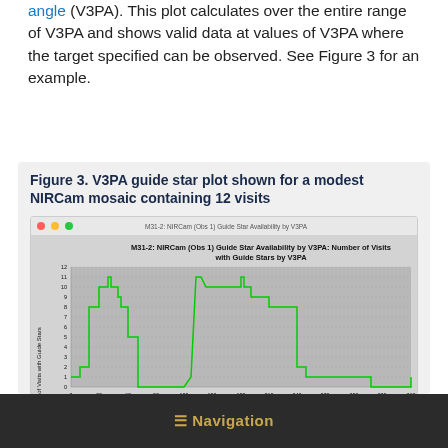angle (V3PA). This plot calculates over the entire range of V3PA and shows valid data at values of V3PA where the target specified can be observed. See Figure 3 for an example.
Figure 3. V3PA guide star plot shown for a modest NIRCam mosaic containing 12 visits
[Figure (continuous-plot): M31-2: NIRCam (Obs 1) Guide Star Availability by V3PA: Number of Visits with Guide Stars by V3PA. A step-line chart showing two humps of guide star availability. Y-axis: Number of Visits with Guide Stars (0-12). X-axis: V3PA in degrees (0 to 360). Two broad peaks, one centered around 40-90 degrees (peak ~11) and one around 210-270 degrees (peak ~11), with gaps near 120-180 degrees and beyond 300 degrees.]
≡ Navigation